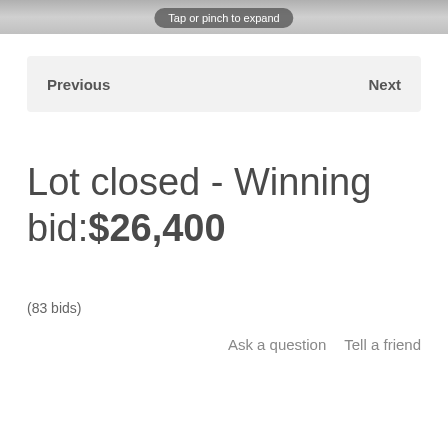[Figure (photo): Partial photo strip at top of page showing a surface/ground texture with tap-or-pinch overlay label]
Tap or pinch to expand
Previous    Next
Lot closed - Winning bid:$26,400
(83 bids)
Ask a question   Tell a friend